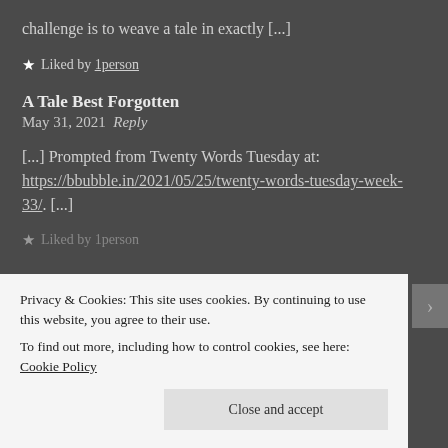challenge is to weave a tale in exactly [...]
★ Liked by 1person
A Tale Best Forgotten
May 31, 2021 Reply
[...] Prompted from Twenty Words Tuesday at: https://bbubble.in/2021/05/25/twenty-words-tuesday-week-33/. [...]
★ Liked by 1person
Privacy & Cookies: This site uses cookies. By continuing to use this website, you agree to their use.
To find out more, including how to control cookies, see here: Cookie Policy
Close and accept